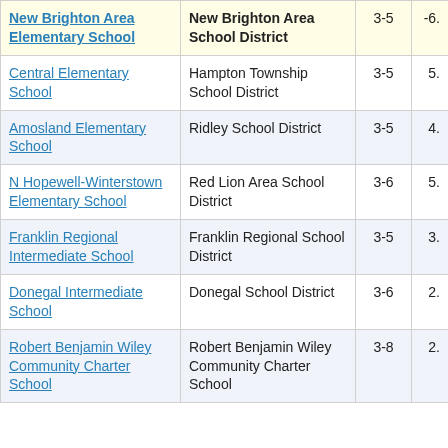| School | District | Grades |  |
| --- | --- | --- | --- |
| New Brighton Area Elementary School | New Brighton Area School District | 3-5 | -6. |
| Central Elementary School | Hampton Township School District | 3-5 | 5. |
| Amosland Elementary School | Ridley School District | 3-5 | 4. |
| N Hopewell-Winterstown Elementary School | Red Lion Area School District | 3-6 | 5. |
| Franklin Regional Intermediate School | Franklin Regional School District | 3-5 | 3. |
| Donegal Intermediate School | Donegal School District | 3-6 | 2. |
| Robert Benjamin Wiley Community Charter School | Robert Benjamin Wiley Community Charter School | 3-8 | 2. |